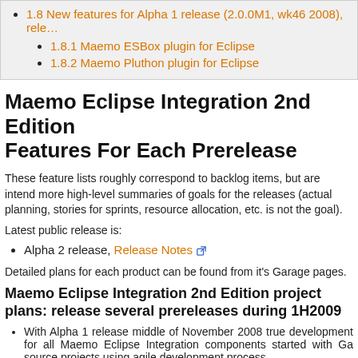1.8 New features for Alpha 1 release (2.0.0M1, wk46 2008), rele...
1.8.1 Maemo ESBox plugin for Eclipse
1.8.2 Maemo Pluthon plugin for Eclipse
Maemo Eclipse Integration 2nd Edition Features For Each Prerelease
These feature lists roughly correspond to backlog items, but are intend more high-level summaries of goals for the releases (actual planning, stories for sprints, resource allocation, etc. is not the goal).
Latest public release is:
Alpha 2 release, Release Notes
Detailed plans for each product can be found from it's Garage pages.
Maemo Eclipse Integration 2nd Edition project plans: release several prereleases during 1H2009
With Alpha 1 release middle of November 2008 true development for all Maemo Eclipse Integration components started with Ga source projects using agile development process
With Alpha 2 release end of February 2009 a lot of new features...